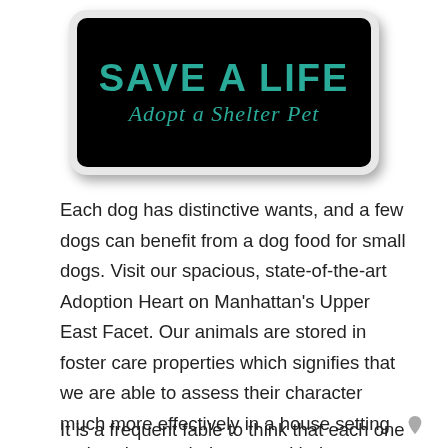[Figure (illustration): A rectangular sign with rounded corners and drop shadow. White/gray border outer frame, black background interior. Text reads 'SAVE A LIFE' in large teal/cyan stylized font, and 'Adopt a Shelter Pet' in teal italic serif font below.]
Each dog has distinctive wants, and a few dogs can benefit from a dog food for small dogs. Visit our spacious, state-of-the-art Adoption Heart on Manhattan's Upper East Facet. Our animals are stored in foster care properties which signifies that we are able to assess their character much more effectively in a house setting and assist match them up with the proper new house.
It is a frequent fable to think that each one dogs up